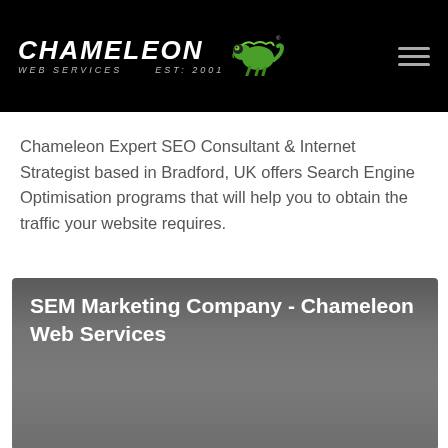[Figure (logo): Chameleon Web Services logo with green chameleon icon on black background. Text reads CHAMELEON WEB SERVICES EST: 2001 with hamburger menu icon on the right.]
Chameleon Expert SEO Consultant & Internet Strategist based in Bradford, UK offers Search Engine Optimisation programs that will help you to obtain the traffic your website requires.
SEM Marketing Company - Chameleon Web Services